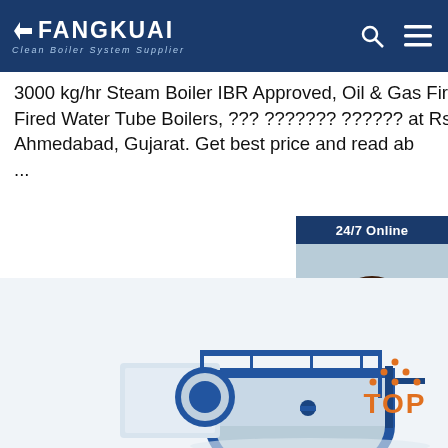FANGKUAI Clean Boiler System Supplier
3000 kg/hr Steam Boiler IBR Approved, Oil & Gas Fired Boiler, Oil Fired Water Tube Boilers, ??? ??????? ?????? at Rs 1900000 in Ahmedabad, Gujarat. Get best price and read ab...
[Figure (photo): Customer service representative woman with headset, 24/7 Online chat widget with QUOTATION button]
Get Price
[Figure (photo): Industrial steam boiler unit, blue and white, with walkway railing on top; TOP badge with orange dots]